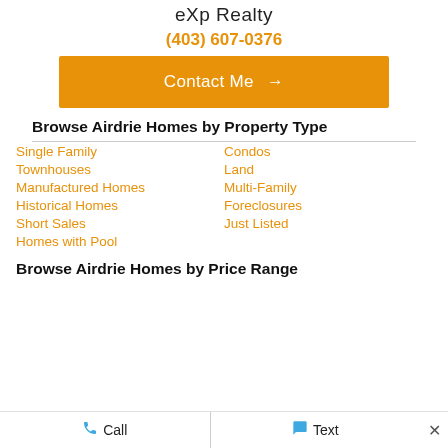eXp Realty
(403) 607-0376
Contact Me →
Browse Airdrie Homes by Property Type
Single Family
Condos
Townhouses
Land
Manufactured Homes
Multi-Family
Historical Homes
Foreclosures
Short Sales
Just Listed
Homes with Pool
Browse Airdrie Homes by Price Range
Call   Text   ×